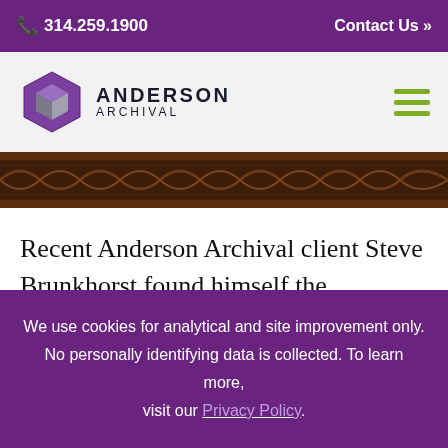📞 314.259.1900    Contact Us »
[Figure (logo): Anderson Archival hexagon logo with purple and grey geometric cube design, next to text ANDERSON ARCHIVAL]
[Figure (photo): Decorative dark wooden ornamental carved border/frieze, dark brown tones]
Recent Anderson Archival client Steve Brunkhorst found himself the caretaker of four old family albums. Like many others in the same situation, he didn't know how to share the collection with his family in a way that was fair
We use cookies for analytical and site improvement only. No personally identifying data is collected. To learn more, visit our Privacy Policy.